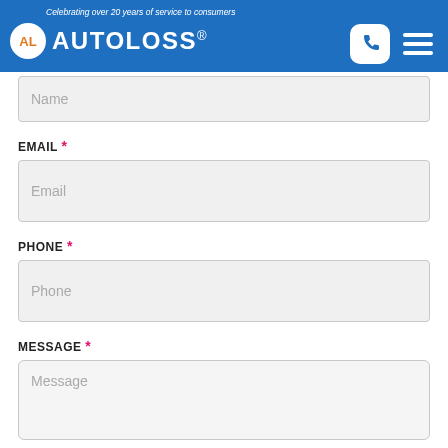Celebrating over 20 years of service to consumers | AUTOLOSS®
Name (input field, partially visible)
EMAIL *
Email (input placeholder)
PHONE *
Phone (input placeholder)
MESSAGE *
Message (textarea placeholder)